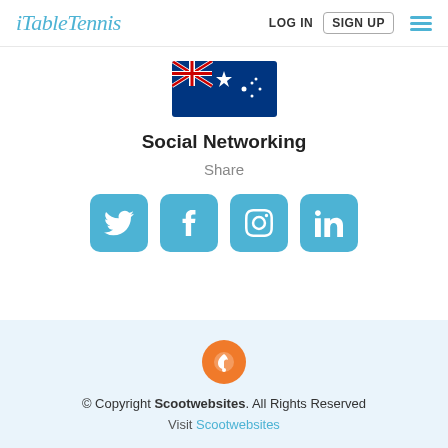iTableTennis  LOG IN  SIGN UP
[Figure (illustration): Australian flag partial view]
Social Networking
Share
[Figure (infographic): Four social media icon buttons: Twitter, Facebook, Instagram, LinkedIn — all in blue with white icons]
© Copyright Scootwebsites. All Rights Reserved
Visit Scootwebsites